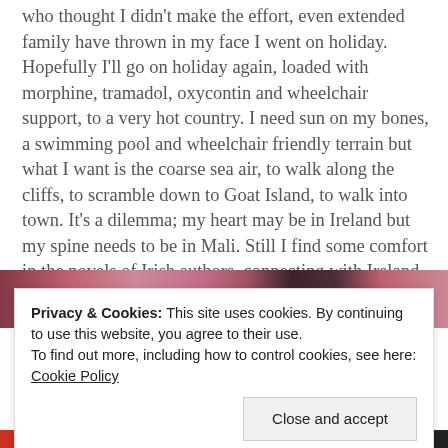who thought I didn't make the effort, even extended family have thrown in my face I went on holiday. Hopefully I'll go on holiday again, loaded with morphine, tramadol, oxycontin and wheelchair support, to a very hot country. I need sun on my bones, a swimming pool and wheelchair friendly terrain but what I want is the coarse sea air, to walk along the cliffs, to scramble down to Goat Island, to walk into town. It's a dilemma; my heart may be in Ireland but my spine needs to be in Mali. Still I find some comfort in the novels of Irish authors, connecting with Ireland through characters and places.
[Figure (photo): Partial view of a photograph showing what appears to be pink/purple knitted or textile items]
Privacy & Cookies: This site uses cookies. By continuing to use this website, you agree to their use.
To find out more, including how to control cookies, see here: Cookie Policy
Close and accept